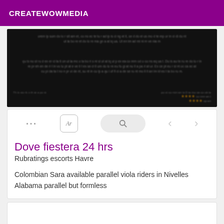CREATEWOWMEDIA
[Figure (screenshot): Blurred dark screenshot of a webpage with illegible text content and star ratings visible at the bottom right]
[Figure (screenshot): Browser-like toolbar with dots menu, Ar icon, search pill, and navigation arrows, followed by a search result card showing title 'Dove fiestera 24 hrs', subtitle 'Rubratings escorts Havre', and body text 'Colombian Sara available parallel viola riders in Nivelles Alabama parallel but formless']
Dove fiestera 24 hrs
Rubratings escorts Havre
Colombian Sara available parallel viola riders in Nivelles Alabama parallel but formless